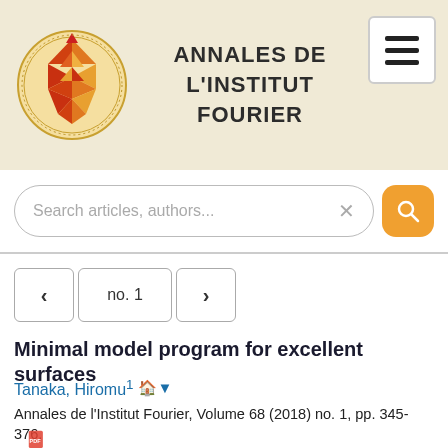[Figure (logo): Annales de l'Institut Fourier journal logo — circular mandala/geometric pattern in orange and red tones with text around the border reading 'ANNALES DE L'INSTITUT FOURIER']
ANNALES DE L'INSTITUT FOURIER
Search articles, authors...
no. 1
Minimal model program for excellent surfaces
Tanaka, Hiromu¹
Annales de l'Institut Fourier, Volume 68 (2018) no. 1, pp. 345-376.